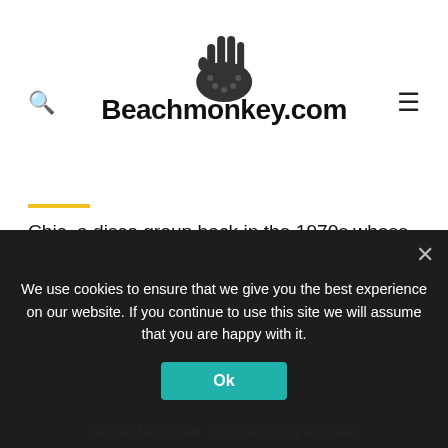Beachmonkey.com
Chic, a disco group back in the 1970s whose songs are still played today, recently released a new song, “I’ll Be There,” the first in over a decade (To read the article on it by Keith Caulfield, click here.). This song has been hailed as The Return Of Disco, which the media had declared dead in 1979-80 because a bunch of disgruntled macho rockers with no rhythm were running around yelling “Disco Sucks!”
Photo: Dimitrios Kambouris/Getty Images for EJAF
We use cookies to ensure that we give you the best experience on our website. If you continue to use this site we will assume that you are happy with it.